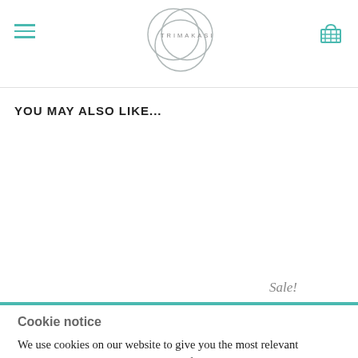TRIMAKASI — navigation header with hamburger menu and cart icon
YOU MAY ALSO LIKE...
Sale!
Cookie notice
We use cookies on our website to give you the most relevant experience by remembering your preferences and repeat visits. By clicking "Accept All", you consent to the use of ALL the cookies. However, you may visit "Cookie Settings" to provide a controlled consent.
Settings | Reject | Accept All